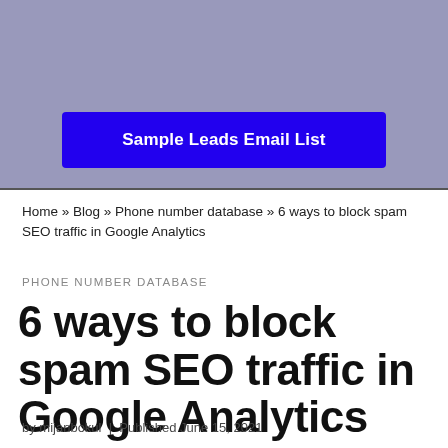[Figure (other): Blue-gray banner background with a blue 'Sample Leads Email List' button centered at the bottom]
Home » Blog » Phone number database » 6 ways to block spam SEO traffic in Google Analytics
PHONE NUMBER DATABASE
6 ways to block spam SEO traffic in Google Analytics
by mijanbokul  |  Published June 15, 2021